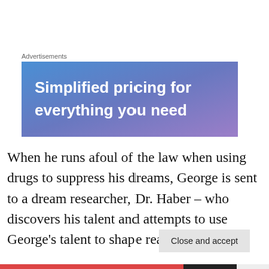Advertisements
[Figure (illustration): Advertisement banner with blue-purple gradient background and white text reading 'Simplified pricing for everything you need']
When he runs afoul of the law when using drugs to suppress his dreams, George is sent to a dream researcher, Dr. Haber – who discovers his talent and attempts to use George's talent to shape reality to the
Privacy & Cookies: This site uses cookies. By continuing to use this website, you agree to their use.
To find out more, including how to control cookies, see here: Cookie Policy
Close and accept